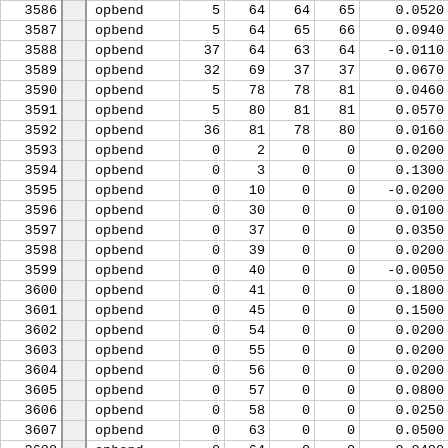| # |  | type | n1 | n2 | n3 | n4 | value |
| --- | --- | --- | --- | --- | --- | --- | --- |
| 3586 |  | opbend | 5 | 64 | 64 | 65 | 0.0520 |
| 3587 |  | opbend | 5 | 64 | 65 | 66 | 0.0940 |
| 3588 |  | opbend | 37 | 64 | 63 | 64 | -0.0110 |
| 3589 |  | opbend | 32 | 69 | 37 | 37 | 0.0670 |
| 3590 |  | opbend | 5 | 78 | 78 | 81 | 0.0460 |
| 3591 |  | opbend | 5 | 80 | 81 | 81 | 0.0570 |
| 3592 |  | opbend | 36 | 81 | 78 | 80 | 0.0160 |
| 3593 |  | opbend | 0 | 2 | 0 | 0 | 0.0200 |
| 3594 |  | opbend | 0 | 3 | 0 | 0 | 0.1300 |
| 3595 |  | opbend | 0 | 10 | 0 | 0 | -0.0200 |
| 3596 |  | opbend | 0 | 30 | 0 | 0 | 0.0100 |
| 3597 |  | opbend | 0 | 37 | 0 | 0 | 0.0350 |
| 3598 |  | opbend | 0 | 39 | 0 | 0 | 0.0200 |
| 3599 |  | opbend | 0 | 40 | 0 | 0 | -0.0050 |
| 3600 |  | opbend | 0 | 41 | 0 | 0 | 0.1800 |
| 3601 |  | opbend | 0 | 45 | 0 | 0 | 0.1500 |
| 3602 |  | opbend | 0 | 54 | 0 | 0 | 0.0200 |
| 3603 |  | opbend | 0 | 55 | 0 | 0 | 0.0200 |
| 3604 |  | opbend | 0 | 56 | 0 | 0 | 0.0200 |
| 3605 |  | opbend | 0 | 57 | 0 | 0 | 0.0800 |
| 3606 |  | opbend | 0 | 58 | 0 | 0 | 0.0250 |
| 3607 |  | opbend | 0 | 63 | 0 | 0 | 0.0500 |
| 3608 |  | opbend | 0 | 64 | 0 | 0 | 0.0400 |